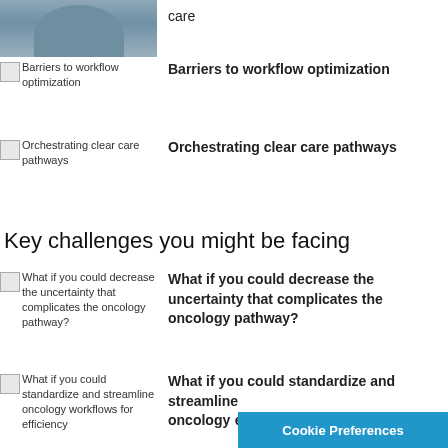[Figure (photo): Partial photo of a man in a light blue shirt, top portion visible]
care
[Figure (illustration): Broken image icon for Barriers to workflow optimization]
Barriers to workflow optimization
Barriers to workflow optimization
[Figure (illustration): Broken image icon for Orchestrating clear care pathways]
Orchestrating clear care pathways
Orchestrating clear care pathways
Key challenges you might be facing
[Figure (illustration): Broken image icon for What if you could decrease the uncertainty that complicates the oncology pathway?]
What if you could decrease the uncertainty that complicates the oncology pathway?
What if you could decrease the uncertainty that complicates the oncology pathway?
[Figure (illustration): Broken image icon for What if you could standardize and streamline oncology workflows for efficiency]
What if you could standardize and streamline oncology workflows for efficiency
What if you could standardize and streamline oncology workflows for efficiency